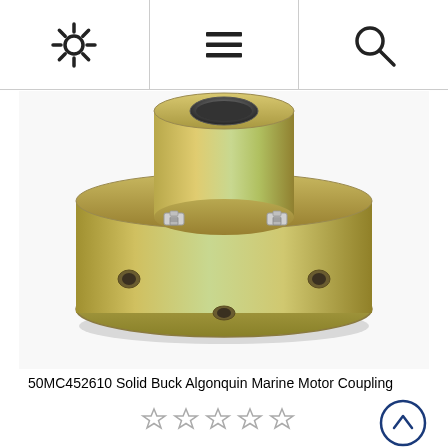[Navigation bar with settings, menu, and search icons]
[Figure (photo): A gold/zinc-plated solid flange motor coupling (50MC452610 Solid Buck Algonquin Marine Motor Coupling) with a cylindrical hub and circular base flange, featuring four bolt holes on the flange and two set screws visible on the sides of the hub.]
50MC452610 Solid Buck Algonquin Marine Motor Coupling
[Figure (other): Five empty star rating icons in a row]